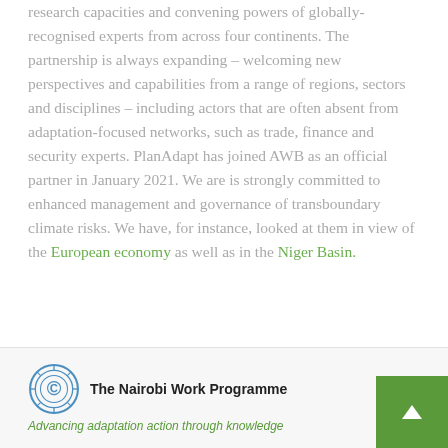research capacities and convening powers of globally-recognised experts from across four continents. The partnership is always expanding – welcoming new perspectives and capabilities from a range of regions, sectors and disciplines – including actors that are often absent from adaptation-focused networks, such as trade, finance and security experts. PlanAdapt has joined AWB as an official partner in January 2021. We are is strongly committed to enhanced management and governance of transboundary climate risks. We have, for instance, looked at them in view of the European economy as well as in the Niger Basin.
The Nairobi Work Programme – Advancing adaptation action through knowledge